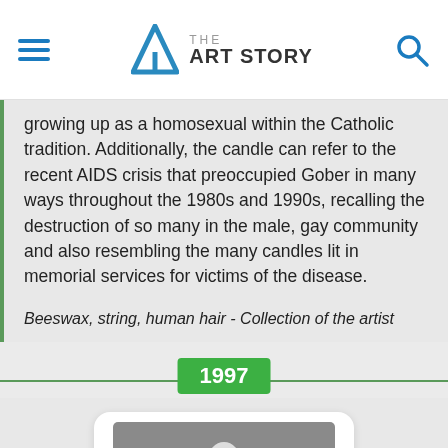THE ART STORY
growing up as a homosexual within the Catholic tradition. Additionally, the candle can refer to the recent AIDS crisis that preoccupied Gober in many ways throughout the 1980s and 1990s, recalling the destruction of so many in the male, gay community and also resembling the many candles lit in memorial services for victims of the disease.
Beeswax, string, human hair - Collection of the artist
1997
[Figure (photo): Black and white or muted photo of a white-robed figure with dark cylindrical objects across its arms, standing in shallow water or on a reflective surface.]